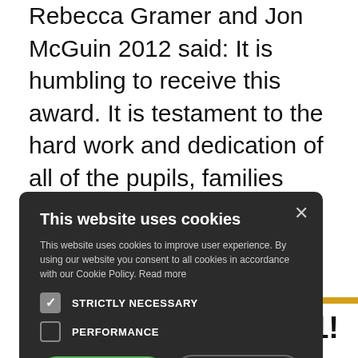Rebecca Gramer and Jon McGuin 2012 said: It is humbling to receive this award. It is testament to the hard work and dedication of all of the pupils, families and staff at Reach. I am proud of what we have achieved together over the last eight years and I am looking forward to the next chapter in
[Figure (screenshot): Cookie consent modal dialog with dark background showing title 'This website uses cookies', description text, STRICTLY NECESSARY checked checkbox, PERFORMANCE unchecked checkbox, ACCEPT ALL green button, DECLINE ALL outlined button, and SHOW DETAILS option with gear icon. An X close button is in the top right corner.]
#1!